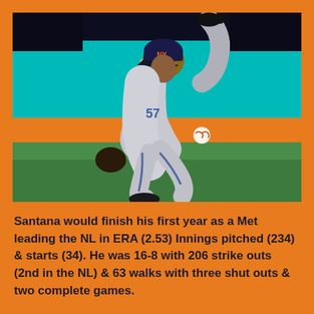[Figure (photo): A baseball pitcher in a gray New York Mets uniform mid-pitch, leaning forward in full throwing motion. Background shows a teal/turquoise outfield wall and green grass. The pitcher wears a dark cap with the Mets logo.]
Santana would finish his first year as a Met leading the NL in ERA (2.53) Innings pitched (234) & starts (34). He was 16-8 with 206 strike outs (2nd in the NL) & 63 walks with three shut outs & two complete games.